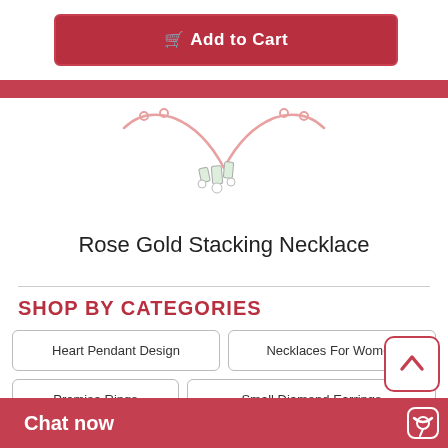Add to Cart
[Figure (photo): Rose gold diamond necklace jewelry product photo on white background]
Rose Gold Stacking Necklace
SHOP BY CATEGORIES
Heart Pendant Design
Necklaces For Women
Promise Rings
Small Diamond Earrings
Diamond Rings For Women
Chat now